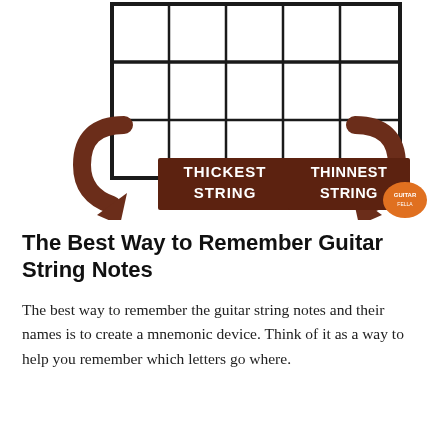[Figure (illustration): Diagram of a guitar fretboard grid showing 3 rows and 5 columns of rectangular cells. A brown curved arrow on the left points to a brown label box reading 'THICKEST STRING'. A brown curved arrow on the right points to a brown label box reading 'THINNEST STRING'. An orange pick logo is at the bottom right.]
The Best Way to Remember Guitar String Notes
The best way to remember the guitar string notes and their names is to create a mnemonic device. Think of it as a way to help you remember which letters go where.